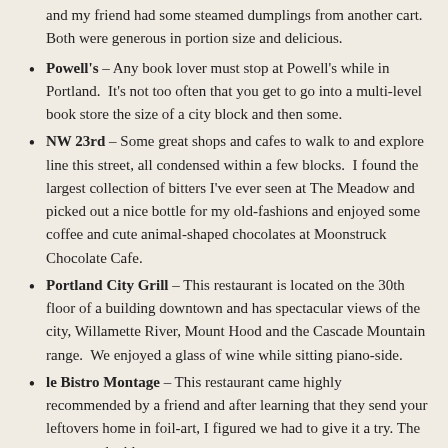and my friend had some steamed dumplings from another cart.  Both were generous in portion size and delicious.
Powell's – Any book lover must stop at Powell's while in Portland.  It's not too often that you get to go into a multi-level book store the size of a city block and then some.
NW 23rd – Some great shops and cafes to walk to and explore line this street, all condensed within a few blocks.  I found the largest collection of bitters I've ever seen at The Meadow and picked out a nice bottle for my old-fashions and enjoyed some coffee and cute animal-shaped chocolates at Moonstruck Chocolate Cafe.
Portland City Grill – This restaurant is located on the 30th floor of a building downtown and has spectacular views of the city, Willamette River, Mount Hood and the Cascade Mountain range.  We enjoyed a glass of wine while sitting piano-side.
le Bistro Montage – This restaurant came highly recommended by a friend and after learning that they send your leftovers home in foil-art, I figured we had to give it a try. The communal tables